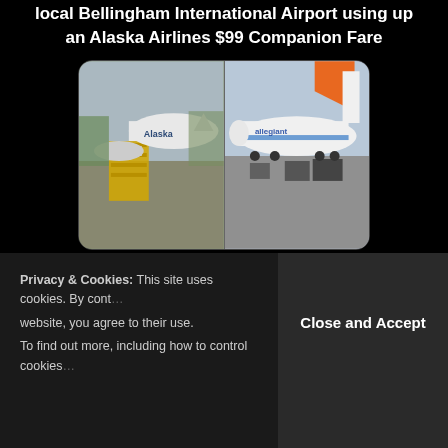local Bellingham International Airport using up an Alaska Airlines $99 Companion Fare
[Figure (photo): Two side-by-side photos of airplanes at an airport tarmac. Left photo shows a propeller aircraft with 'Alaska' markings at Bellingham airport. Right photo shows an Allegiant Air jet at a gate with ground equipment nearby.]
Privacy & Cookies: This site uses cookies. By continuing to use this website, you agree to their use. To find out more, including how to control cookies...
Close and Accept